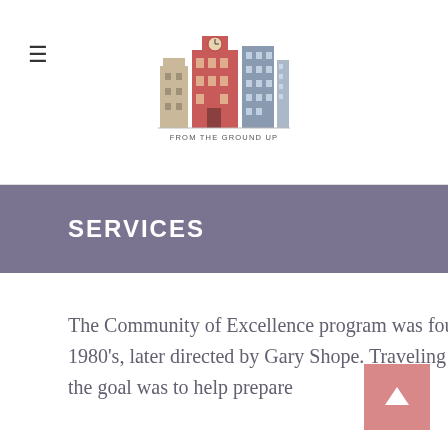From The Ground Up – logo and navigation
SERVICES
The Community of Excellence program was founded by former Governor Jim Hunt in the early 1980's, later directed by Gary Shope. Traveling the State, meeting with rural town and county leaders, the goal was to help prepare communities of 15,000 or fewer...